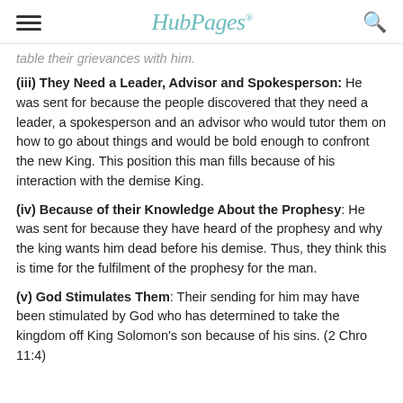HubPages
table their grievances with him.
(iii) They Need a Leader, Advisor and Spokesperson: He was sent for because the people discovered that they need a leader, a spokesperson and an advisor who would tutor them on how to go about things and would be bold enough to confront the new King. This position this man fills because of his interaction with the demise King.
(iv) Because of their Knowledge About the Prophesy: He was sent for because they have heard of the prophesy and why the king wants him dead before his demise. Thus, they think this is time for the fulfilment of the prophesy for the man.
(v) God Stimulates Them: Their sending for him may have been stimulated by God who has determined to take the kingdom off King Solomon's son because of his sins. (2 Chro 11:4)